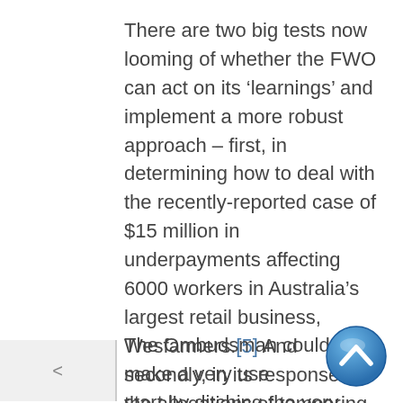There are two big tests now looming of whether the FWO can act on its ‘learnings’ and implement a more robust approach – first, in determining how to deal with the recently-reported case of $15 million in underpayments affecting 6000 workers in Australia’s largest retail business, Wesfarmers.[5] And secondly, in its response to the allegations of tampering with time records as part of an underpayment claim by Hospo Voice on behalf of workers at Rockpool Dining Group.[6]
The Ombudsman could make a very useful start by ditching the very concept of ‘contrition payments’ – an extremely